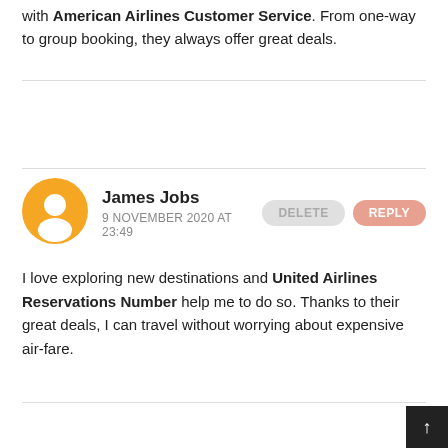with American Airlines Customer Service. From one-way to group booking, they always offer great deals.
James Jobs
9 NOVEMBER 2020 AT 23:49
I love exploring new destinations and United Airlines Reservations Number help me to do so. Thanks to their great deals, I can travel without worrying about expensive air-fare.